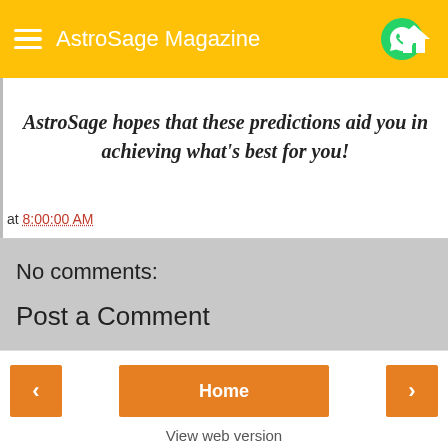AstroSage Magazine
AstroSage hopes that these predictions aid you in achieving what's best for you!
at 8:00:00 AM
No comments:
Post a Comment
Home | View web version